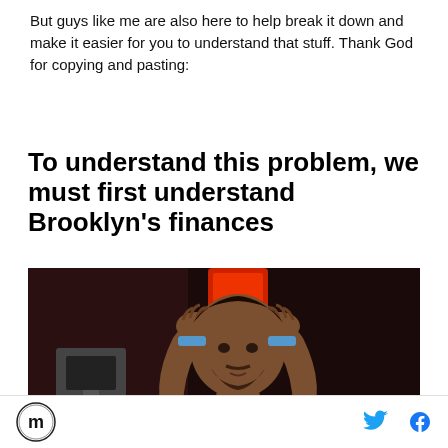But guys like me are also here to help break it down and make it easier for you to understand that stuff. Thank God for copying and pasting:
To understand this problem, we must first understand Brooklyn's finances
[Figure (photo): Basketball player wearing a Brooklyn Nets jersey with hands on head in a frustrated or exasperated expression, arena in background]
Site logo (circular icon with M) and social media icons for Twitter and Facebook